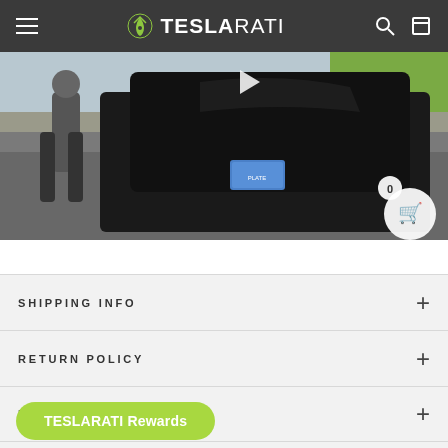TESLARATI
[Figure (photo): Photo of person standing next to black Tesla car in a parking lot, with a video play button overlay. Green grass visible in top right.]
SHIPPING INFO
RETURN POLICY
REVIEWS (0)
TESLARATI Rewards